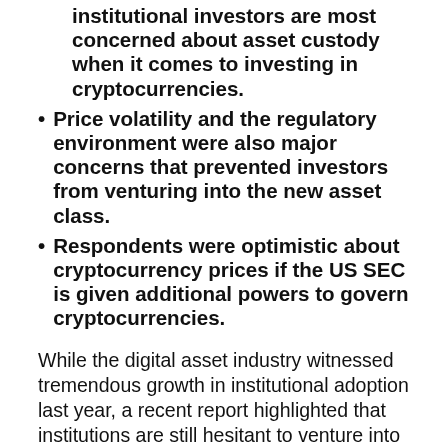institutional investors are most concerned about asset custody when it comes to investing in cryptocurrencies.
Price volatility and the regulatory environment were also major concerns that prevented investors from venturing into the new asset class.
Respondents were optimistic about cryptocurrency prices if the US SEC is given additional powers to govern cryptocurrencies.
While the digital asset industry witnessed tremendous growth in institutional adoption last year, a recent report highlighted that institutions are still hesitant to venture into